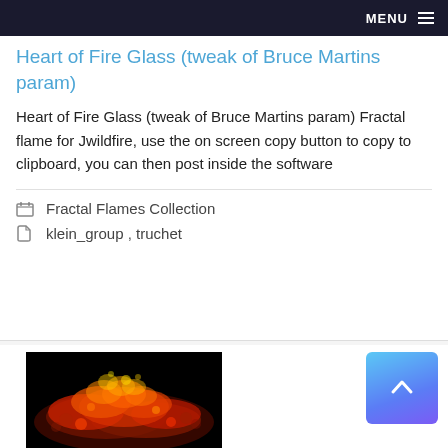MENU
Heart of Fire Glass (tweak of Bruce Martins param)
Heart of Fire Glass (tweak of Bruce Martins param) Fractal flame for Jwildfire, use the on screen copy button to copy to clipboard, you can then post inside the software
Fractal Flames Collection
klein_group, truchet
[Figure (photo): Fractal flame image showing orange, red and yellow fire-like patterns on black background]